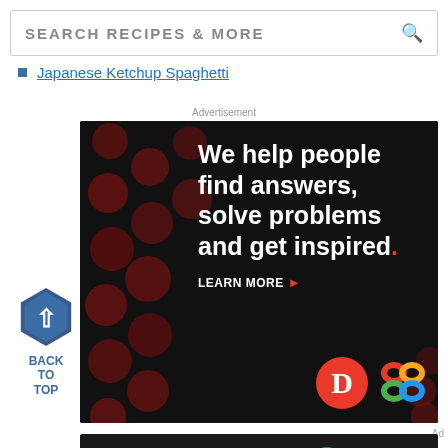SEARCH RECIPES & MORE
Japanese Ketchup Spaghetti
Advertisement
[Figure (illustration): Dotdash Meredith advertisement on dark background with red polka dots. Text reads: We help people find answers, solve problems and get inspired. LEARN MORE with arrow. Dotdash logo (red circle with D) and Meredith colorful knot logo.]
[Figure (illustration): Back to Top button: dark blue hexagon with upward arrow, text BACK TO TOP]
[Figure (illustration): Small Dotdash Meredith advertisement banner at bottom: We help people find answers, solve problems and get inspired. With Dotdash and Meredith logos.]